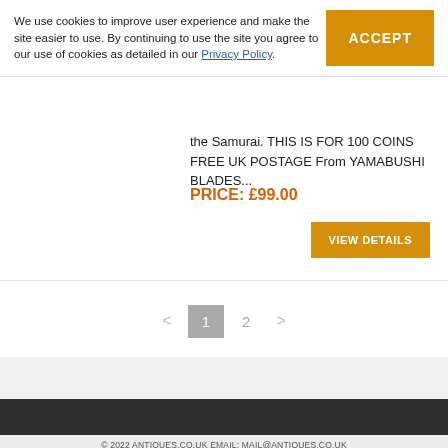We use cookies to improve user experience and make the site easier to use. By continuing to use the site you agree to our use of cookies as detailed in our Privacy Policy.
ACCEPT
the Samurai. THIS IS FOR 100 COINS FREE UK POSTAGE From YAMABUSHI BLADES...
PRICE: £99.00
VIEW DETAILS
< 1 2 >
© 2022 ANTIQUES.CO.UK EMAIL: MAIL@ANTIQUES.CO.UK
TERMS & CONDITIONS | PRIVACY POLICY | RETURNS | XML IMPORTS | SOLD ANTIQUES | SUBSCRIBE | NEWSLETTER ARCHIVE